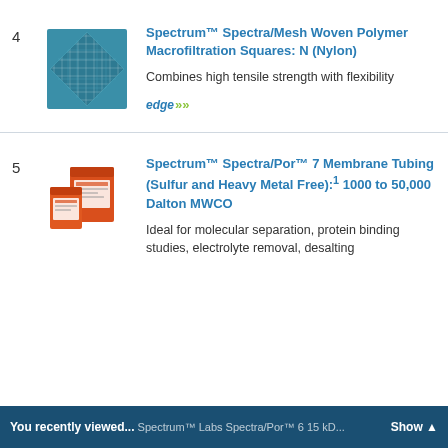4 Spectrum™ Spectra/Mesh Woven Polymer Macrofiltration Squares: N (Nylon) — Combines high tensile strength with flexibility — edge
5 Spectrum™ Spectra/Por™ 7 Membrane Tubing (Sulfur and Heavy Metal Free):¹ 1000 to 50,000 Dalton MWCO — Ideal for molecular separation, protein binding studies, electrolyte removal, desalting
You recently viewed... Spectrum™ Labs Spectra/Por™ 6 15 kD... Show